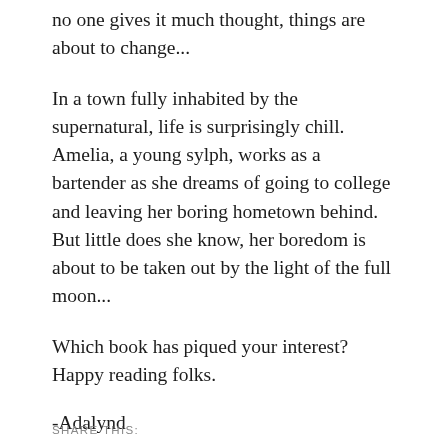no one gives it much thought, things are about to change...
In a town fully inhabited by the supernatural, life is surprisingly chill. Amelia, a young sylph, works as a bartender as she dreams of going to college and leaving her boring hometown behind. But little does she know, her boredom is about to be taken out by the light of the full moon...
Which book has piqued your interest? Happy reading folks.
-Adalynd
SHARE THIS: